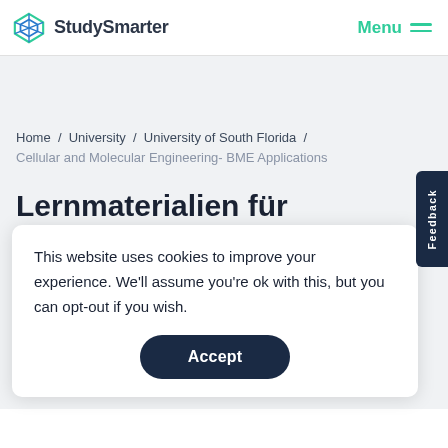StudySmarter | Menu
Home / University / University of South Florida / Cellular and Molecular Engineering- BME Applications
Lernmaterialien für Cellular
This website uses cookies to improve your experience. We'll assume you're ok with this, but you can opt-out if you wish.
Accept
Zusammenfassungen, Übungsaufgaben und